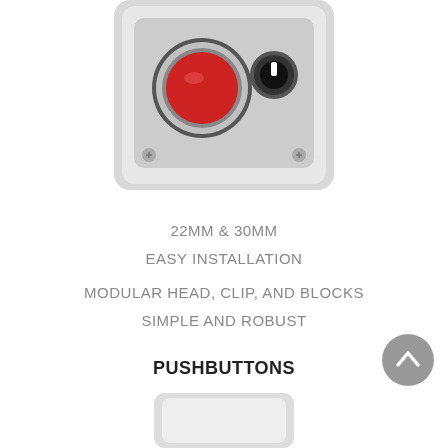[Figure (photo): Industrial pushbutton control station with red mushroom button and black selector knob on grey enclosure, viewed from above, partially cropped]
22MM & 30MM
EASY INSTALLATION
MODULAR HEAD, CLIP, AND BLOCKS
SIMPLE AND ROBUST
PUSHBUTTONS
[Figure (photo): Grey industrial enclosure/box, bottom portion visible, white/light grey color]